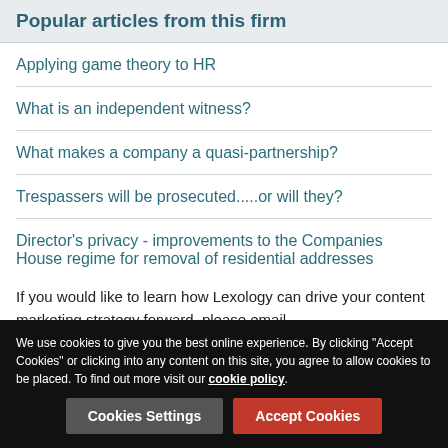Popular articles from this firm
Applying game theory to HR
What is an independent witness?
What makes a company a quasi-partnership?
Trespassers will be prosecuted.....or will they?
Director's privacy - improvements to the Companies House regime for removal of residential addresses
If you would like to learn how Lexology can drive your content marketing strategy forward, please email enquiries@lexology.com.
We use cookies to give you the best online experience. By clicking "Accept Cookies" or clicking into any content on this site, you agree to allow cookies to be placed. To find out more visit our cookie policy.